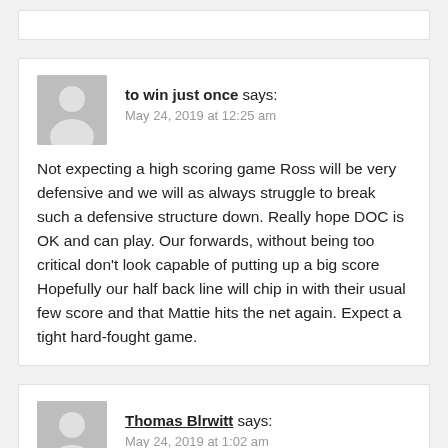to win just once says:
May 24, 2019 at 12:25 am
Not expecting a high scoring game Ross will be very defensive and we will as always struggle to break such a defensive structure down. Really hope DOC is OK and can play. Our forwards, without being too critical don't look capable of putting up a big score Hopefully our half back line will chip in with their usual few score and that Mattie hits the net again. Expect a tight hard-fought game.
Thomas Blrwitt says:
May 24, 2019 at 1:02 am
Evan like KMc has a wonderful natural left foot. Support him